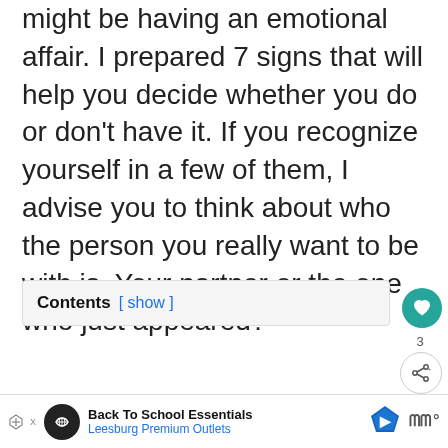might be having an emotional affair. I prepared 7 signs that will help you decide whether you do or don't have it. If you recognize yourself in a few of them, I advise you to think about who the person you really want to be with is. Your partner or the one who just appeared?
Contents [ show ]
1) You constantly think about
Back To School Essentials
Leesburg Premium Outlets